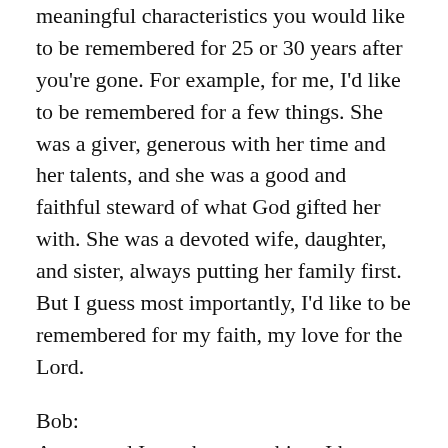meaningful characteristics you would like to be remembered for 25 or 30 years after you're gone. For example, for me, I'd like to be remembered for a few things. She was a giver, generous with her time and her talents, and she was a good and faithful steward of what God gifted her with. She was a devoted wife, daughter, and sister, always putting her family first. But I guess most importantly, I'd like to be remembered for my faith, my love for the Lord.
Bob:
Amen, and I say the same thing. I hope that is what I'm remembered for, that I was a Godly man. So how are you going to ensure these characteristics are remembered? Think about what would you like to have written on your gravestone.